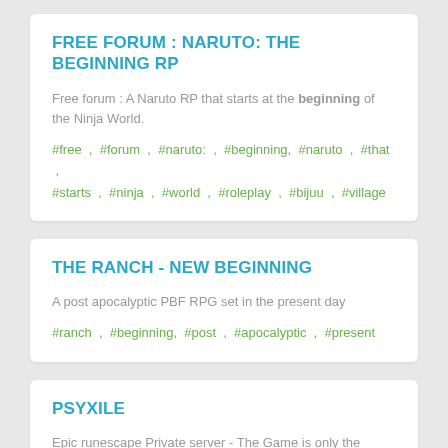FREE FORUM : NARUTO: THE BEGINNING RP
Free forum : A Naruto RP that starts at the beginning of the Ninja World.
#free , #forum , #naruto: , #beginning, #naruto , #that , #starts , #ninja , #world , #roleplay , #bijuu , #village
THE RANCH - NEW BEGINNING
A post apocalyptic PBF RPG set in the present day
#ranch , #beginning, #post , #apocalyptic , #present
PSYXILE
Epic runescape Private server - The Game is only the beginning